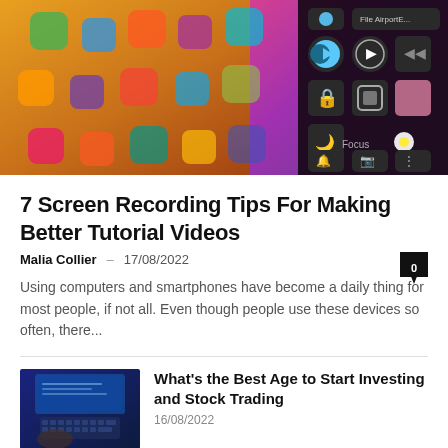[Figure (photo): iPhone screen showing colorful app icons and an iOS control center panel with dark background on the right side]
7 Screen Recording Tips For Making Better Tutorial Videos
Malia Collier · 17/08/2022
Using computers and smartphones have become a daily thing for most people, if not all. Even though people use these devices so often, there...
[Figure (photo): Person typing on a laptop keyboard in a dark setting]
What's the Best Age to Start Investing and Stock Trading
16/08/2022
[Figure (photo): Close-up of hands using a device]
8 Important iPhone Features You Should